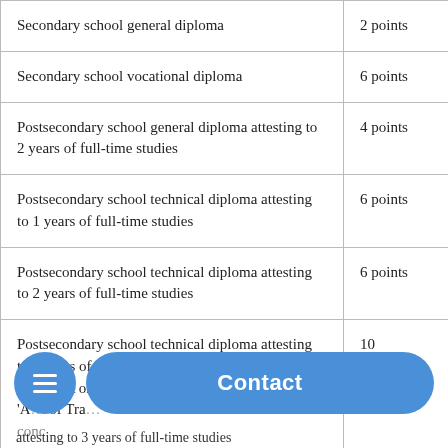| Secondary school general diploma | 2 points |
| Secondary school vocational diploma | 6 points |
| Postsecondary school general diploma attesting to 2 years of full-time studies | 4 points |
| Postsecondary school technical diploma attesting to 1 years of full-time studies | 6 points |
| Postsecondary school technical diploma attesting to 2 years of full-time studies | 6 points |
| Postsecondary school technical diploma attesting to 2 years of full-time studies in training listed in Section A or B of the 'A... of Tra... [cont] | 10 points |
| [cont] attesting to 3 years of full-time studies |  |